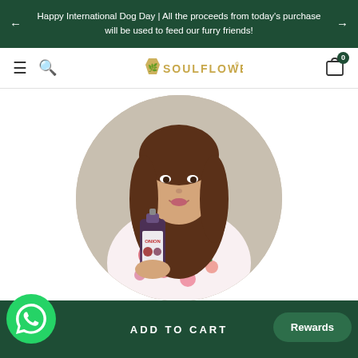Happy International Dog Day | All the proceeds from today's purchase will be used to feed our furry friends!
[Figure (logo): Soulflower logo with shield icon and brand name in gold lettering]
[Figure (photo): A woman holding a Soulflower product (hair oil spray bottle) in a circular cropped frame, wearing a floral dress]
ADD TO CART
[Figure (other): WhatsApp contact button (green circle with phone icon)]
Rewards